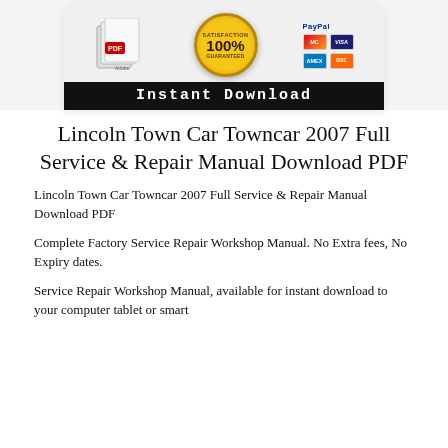[Figure (illustration): Banner image showing PDF document icon, 100% Satisfaction Guaranteed gold badge, PayPal and credit card payment icons (Visa, MasterCard, Amex, Discover), with a black bar at bottom reading 'Instant Download' in monospace font. White rounded-top container on grey background.]
Lincoln Town Car Towncar 2007 Full Service & Repair Manual Download PDF
Lincoln Town Car Towncar 2007 Full Service & Repair Manual Download PDF
Complete Factory Service Repair Workshop Manual. No Extra fees, No Expiry dates.
Service Repair Workshop Manual, available for instant download to your computer tablet or smart